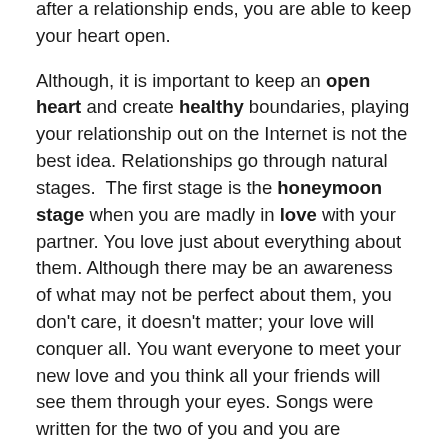after a relationship ends, you are able to keep your heart open.

Although, it is important to keep an open heart and create healthy boundaries, playing your relationship out on the Internet is not the best idea. Relationships go through natural stages.  The first stage is the honeymoon stage when you are madly in love with your partner. You love just about everything about them. Although there may be an awareness of what may not be perfect about them, you don't care, it doesn't matter; your love will conquer all. You want everyone to meet your new love and you think all your friends will see them through your eyes. Songs were written for the two of you and you are ecstatic. This is when you can really over-disclose on the Internet. It would be better to express your feelings directly to the one you love or at least through a private message.